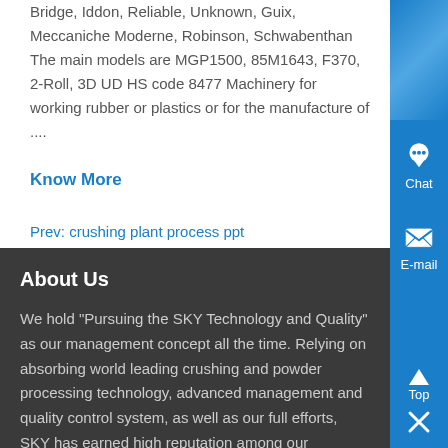Bridge, Iddon, Reliable, Unknown, Guix, Meccaniche Moderne, Robinson, Schwabenthan The main models are MGP1500, 85M1643, F370, 2-Roll, 3D UD HS code 8477 Machinery for working rubber or plastics or for the manufacture of ....
Know More
Prev: crushing plant process ppt
Next: stone crusher mfrs in kerala
About Us
We hold "Pursuing the SKY Technology and Quality" as our management concept all the time. Relying on absorbing world leading crushing and powder processing technology, advanced management and quality control system, as well as our full efforts, SKY has earned high reputation among our customers...